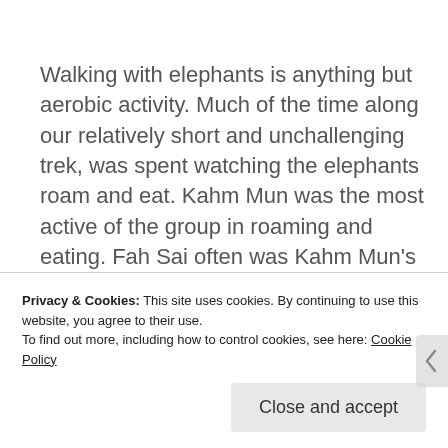Walking with elephants is anything but aerobic activity. Much of the time along our relatively short and unchallenging trek, was spent watching the elephants roam and eat. Kahm Mun was the most active of the group in roaming and eating. Fah Sai often was Kahm Mun's shadow, at least as far as eating went. Moyo stayed close to her mahout and
Privacy & Cookies: This site uses cookies. By continuing to use this website, you agree to their use.
To find out more, including how to control cookies, see here: Cookie Policy
Close and accept